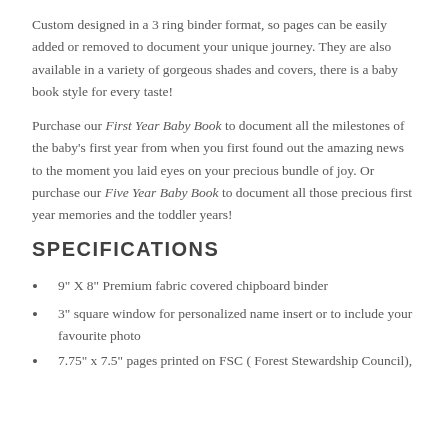Custom designed in a 3 ring binder format, so pages can be easily added or removed to document your unique journey. They are also available in a variety of gorgeous shades and covers, there is a baby book style for every taste!
Purchase our First Year Baby Book to document all the milestones of the baby's first year from when you first found out the amazing news to the moment you laid eyes on your precious bundle of joy. Or purchase our Five Year Baby Book to document all those precious first year memories and the toddler years!
SPECIFICATIONS
9" X 8" Premium fabric covered chipboard binder
3" square window for personalized name insert or to include your favourite photo
7.75" x 7.5" pages printed on FSC ( Forest Stewardship Council),